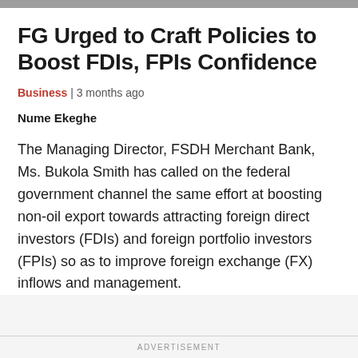FG Urged to Craft Policies to Boost FDIs, FPIs Confidence
Business | 3 months ago
Nume Ekeghe
The Managing Director, FSDH Merchant Bank, Ms. Bukola Smith has called on the federal government channel the same effort at boosting non-oil export towards attracting foreign direct investors (FDIs) and foreign portfolio investors (FPIs) so as to improve foreign exchange (FX) inflows and management.
ADVERTISEMENT